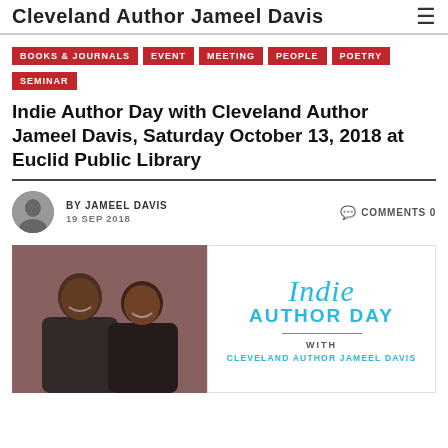Cleveland Author Jameel Davis
BOOKS & JOURNALS
EVENT
MEETING
PEOPLE
POETRY
SEMINAR
Indie Author Day with Cleveland Author Jameel Davis, Saturday October 13, 2018 at Euclid Public Library
BY JAMEEL DAVIS
19 SEP 2018
COMMENTS 0
[Figure (photo): Two men smiling together at an event, left side of image pair]
[Figure (logo): Indie Author Day logo with text 'Indie Author Day' in cyan/blue, with text 'WITH CLEVELAND AUTHOR JAMEEL DAVIS' below a horizontal divider]